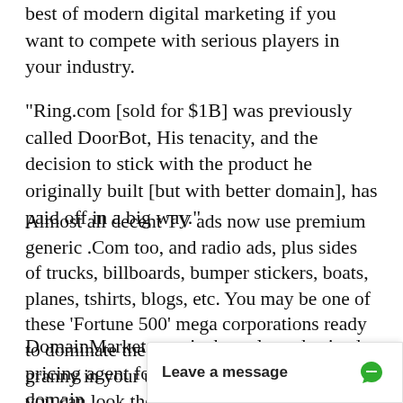best of modern digital marketing if you want to compete with serious players in your industry.
"Ring.com [sold for $1B] was previously called DoorBot, His tenacity, and the decision to stick with the product he originally built [but with better domain], has paid off in a big way."
Almost all decent TV ads now use premium generic .Com too, and radio ads, plus sides of trucks, billboards, bumper stickers, boats, planes, tshirts, blogs, etc. You may be one of these 'Fortune 500' mega corporations ready to dominate the world, or just a regular granny in your underwear, but either way you can look the same with EmporioDelMobile.com.
DomainMarket.com is the only authorized pricing agent for this domain party seller. Every do
Leave a message